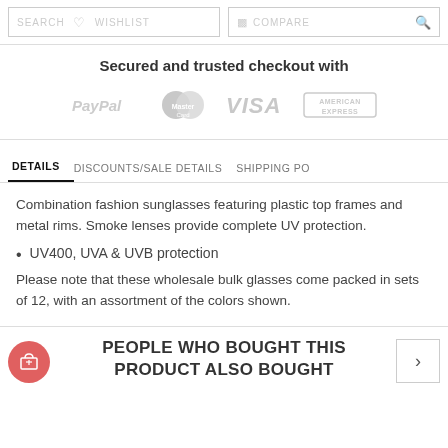SEARCH  WISHLIST  COMPARE
Secured and trusted checkout with
[Figure (logo): Payment logos: PayPal, MasterCard, VISA, American Express]
DETAILS   DISCOUNTS/SALE DETAILS   SHIPPING PO
Combination fashion sunglasses featuring plastic top frames and metal rims. Smoke lenses provide complete UV protection.
UV400, UVA & UVB protection
Please note that these wholesale bulk glasses come packed in sets of 12, with an assortment of the colors shown.
PEOPLE WHO BOUGHT THIS PRODUCT ALSO BOUGHT